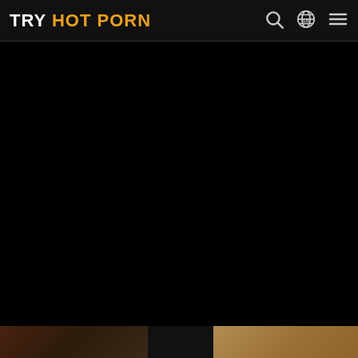TRY HOT PORN
[Figure (screenshot): Large black video player area occupying most of the page below the navigation bar]
[Figure (screenshot): Row of video thumbnails at the bottom of the page showing partially visible preview images]